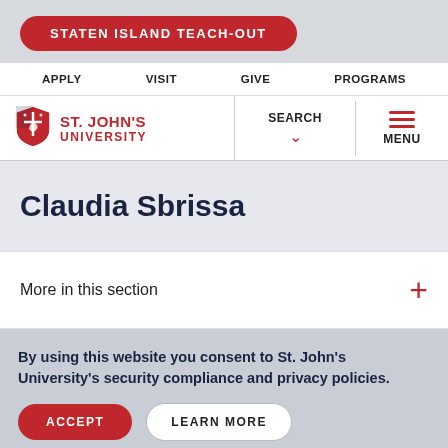STATEN ISLAND TEACH-OUT
APPLY  VISIT  GIVE  PROGRAMS
[Figure (logo): St. John's University shield logo with red crest, cross and heart symbols]
St. John's University — SEARCH — MENU
Claudia Sbrissa
More in this section
By using this website you consent to St. John's University's security compliance and privacy policies.
ACCEPT  LEARN MORE